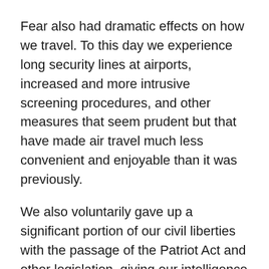Fear also had dramatic effects on how we travel. To this day we experience long security lines at airports, increased and more intrusive screening procedures, and other measures that seem prudent but that have made air travel much less convenient and enjoyable than it was previously.
We also voluntarily gave up a significant portion of our civil liberties with the passage of the Patriot Act and other legislation, giving our intelligence services increased powers and vastly increased budgets to snoop not just on our enemies abroad, but on our own citizens, looking for threats. All in the name of making us feel safer.
We launched two wars to try to engage our enemies abroad before they could threaten the United States. One of these wars, in Afghanistan, was strongly supported by the rest of the world and seen as necessary, and we fought as part of a large coalition of other nations eager to help